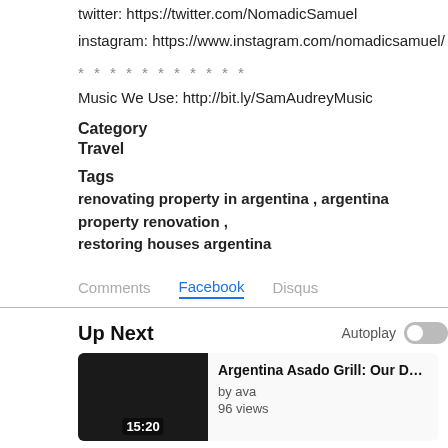twitter: https://twitter.com/NomadicSamuel
instagram: https://www.instagram.com/nomadicsamuel/
* * * * * * * * * * *
Music We Use: http://bit.ly/SamAudreyMusic
Category
Travel
Tags
renovating property in argentina , argentina property renovation , restoring houses argentina
Comments   Facebook   Disqus
Up Next
Autoplay
Argentina Asado Grill: Our DELICIOUS ARG
by ava
96 views